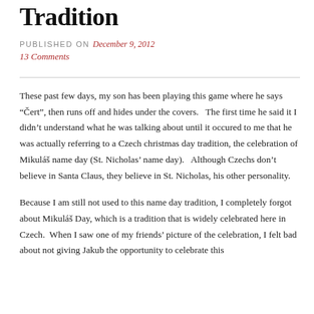Tradition
PUBLISHED ON December 9, 2012
13 Comments
These past few days, my son has been playing this game where he says “Čert”, then runs off and hides under the covers.   The first time he said it I didn’t understand what he was talking about until it occured to me that he was actually referring to a Czech christmas day tradition, the celebration of Mikuláš name day (St. Nicholas’ name day).   Although Czechs don’t believe in Santa Claus, they believe in St. Nicholas, his other personality.
Because I am still not used to this name day tradition, I completely forgot about Mikuláš Day, which is a tradition that is widely celebrated here in Czech.  When I saw one of my friends’ picture of the celebration, I felt bad about not giving Jakub the opportunity to celebrate this